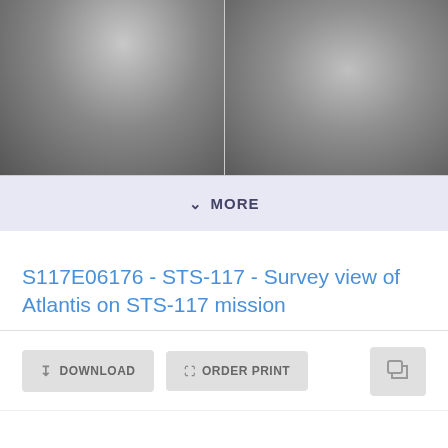[Figure (photo): Two side-by-side photographs showing survey views of Atlantis on STS-117 mission, both appearing gray/dark with light gradients]
MORE
S117E06176 - STS-117 - Survey view of Atlantis on STS-117 mission
DOWNLOAD   ORDER PRINT